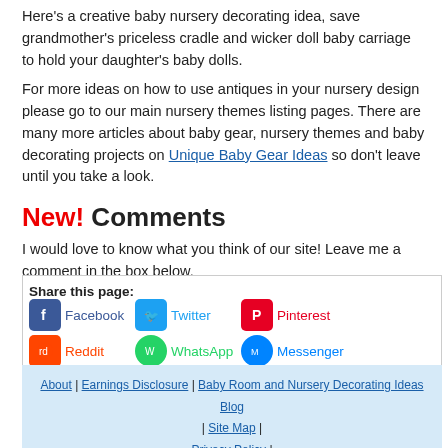Here's a creative baby nursery decorating idea, save grandmother's priceless cradle and wicker doll baby carriage to hold your daughter's baby dolls.
For more ideas on how to use antiques in your nursery design please go to our main nursery themes listing pages. There are many more articles about baby gear, nursery themes and baby decorating projects on Unique Baby Gear Ideas so don't leave until you take a look.
New! Comments
I would love to know what you think of our site! Leave me a comment in the box below.
Share this page: Facebook | Twitter | Pinterest | Reddit | WhatsApp | Messenger
About | Earnings Disclosure | Baby Room and Nursery Decorating Ideas Blog | Site Map | Privacy Policy | Disclaimer | Affiliate Disclosure